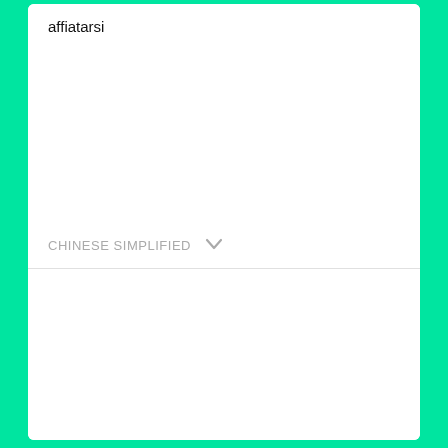affiatarsi
CHINESE SIMPLIFIED
磨合